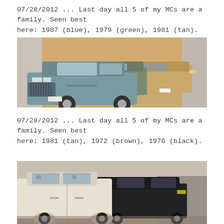07/28/2012 ... Last day all 5 of my MCs are a family. Seen best here: 1987 (blue), 1979 (green), 1981 (tan).
[Figure (photo): Indoor garage photo showing multiple classic Chevrolet Monte Carlo cars parked together. A blue/teal 1987 MC is in the foreground, with a green 1979 MC and tan 1981 MC visible behind it.]
07/28/2012 ... Last day all 5 of my MCs are a family. Seen best here: 1981 (tan), 1972 (brown), 1976 (black).
[Figure (photo): Indoor garage photo showing multiple classic Chevrolet Monte Carlos. A white/tan 1981 MC is on the left, a dark/black 1976 MC is in the center-right.]